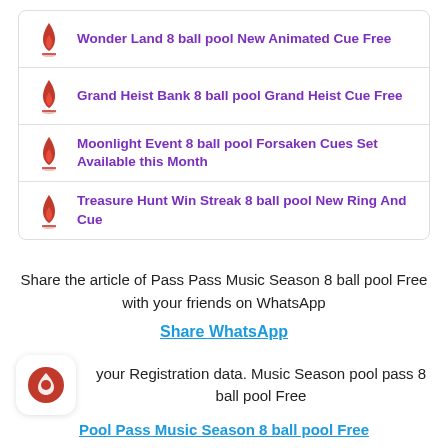Wonder Land 8 ball pool New Animated Cue Free
Grand Heist Bank 8 ball pool Grand Heist Cue Free
Moonlight Event 8 ball pool Forsaken Cues Set Available this Month
Treasure Hunt Win Streak 8 ball pool New Ring And Cue
Share the article of Pass Pass Music Season 8 ball pool Free with your friends on WhatsApp
Share WhatsApp
your Registration data. Music Season pool pass 8 ball pool Free
Pool Pass Music Season 8 ball pool Free